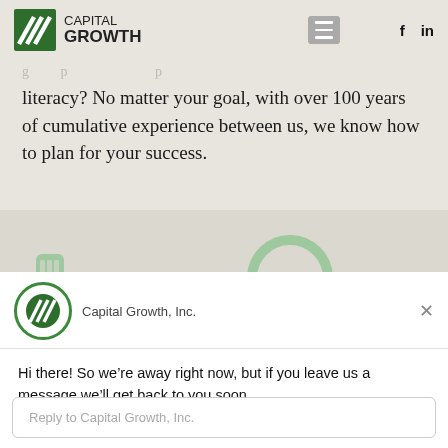CAPITAL GROWTH
literacy? No matter your goal, with over 100 years of cumulative experience between us, we know how to plan for your success.
[Figure (illustration): Faded green illustration of a vintage key on a beige/taupe background]
Capital Growth, Inc.
Hi there! So we're away right now, but if you leave us a message we'll get back to you soon.
Reply to Capital Growth, Inc.